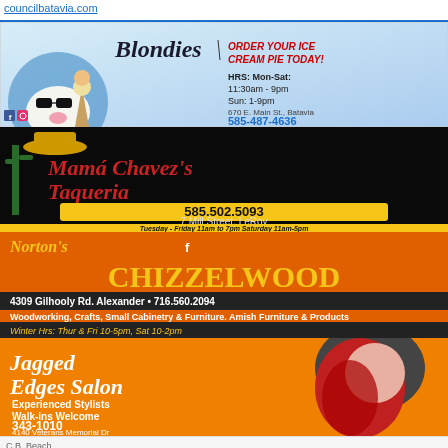councilbatavia.com
[Figure (photo): Blondies ice cream shop advertisement. Logo reads 'Blondies' in cursive with tagline 'ORDER YOUR ICE CREAM PIE TODAY!' in red italic. Hours: Mon-Sat 11:30am-9pm, Sun 1-9pm. Address: 670 E. Main St., Batavia. Phone: 585-487-4636. Features cartoon cow graphic.]
[Figure (photo): Mama Chavez's Taqueria advertisement on black background with red scripted title. Phone: 585.502.5093. Address: 7 Mill Street, LeRoy. Hours: Tuesday-Friday 11am to 7pm, Saturday 11am-5pm.]
[Figure (photo): Norton's Chizzelwood advertisement on orange/black background. Address: 4309 Gilhooly Rd. Alexander. Phone: 716.560.2094. Description: Woodworking, Crafts, Small Cabinetry & Furniture. Amish Furniture & Products. Winter Hrs: Thur & Fri 10-5pm, Sat 10-2pm.]
[Figure (photo): Jagged Edges Salon advertisement on orange background with woman with red hair. Text: Experienced Stylists, Walk-ins Welcome. Phone: 343-1010. Address: 4140 Veterans Memorial Dr.]
They Are Coming!
Download